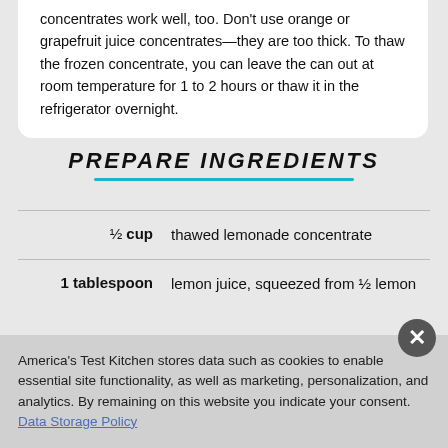concentrates work well, too. Don't use orange or grapefruit juice concentrates—they are too thick. To thaw the frozen concentrate, you can leave the can out at room temperature for 1 to 2 hours or thaw it in the refrigerator overnight.
PREPARE INGREDIENTS
½ cup   thawed lemonade concentrate
1 tablespoon   lemon juice, squeezed from ½ lemon
America's Test Kitchen stores data such as cookies to enable essential site functionality, as well as marketing, personalization, and analytics. By remaining on this website you indicate your consent. Data Storage Policy